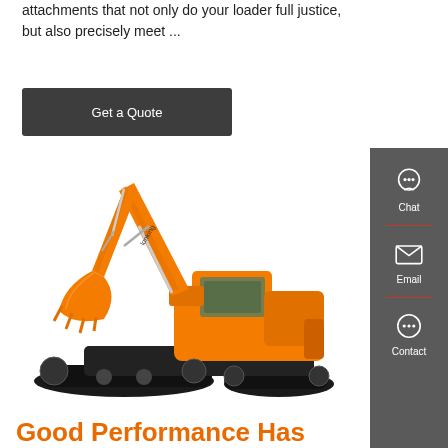attachments that not only do your loader full justice, but also precisely meet ...
Get a Quote
[Figure (photo): Orange crawler excavator (Lonking brand) with extended boom arm and bucket, shown on white background]
Chat
Email
Contact
Good Performance Has